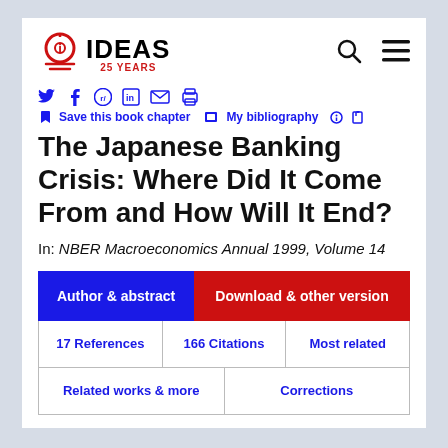IDEAS 25 YEARS
Save this book chapter  My bibliography
The Japanese Banking Crisis: Where Did It Come From and How Will It End?
In: NBER Macroeconomics Annual 1999, Volume 14
Author & abstract
Download & other version
17 References
166 Citations
Most related
Related works & more
Corrections